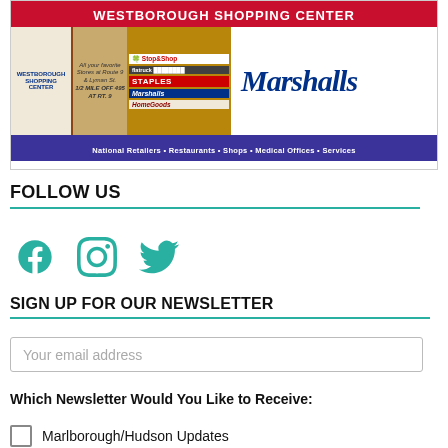[Figure (illustration): Westborough Shopping Center advertisement banner showing store logos including Stop&Shop, Staples, Marshalls, HomeGoods, with text 'All your favorite Stores at Route 9 & Lyman St. 1/2 MILE OFF 495 AT RT. 9' and bottom bar 'National Retailers • Restaurants • Shops • Medical Offices • Services']
FOLLOW US
[Figure (illustration): Social media icons: Facebook, Instagram, Twitter in teal color]
SIGN UP FOR OUR NEWSLETTER
Your email address
Which Newsletter Would You Like to Receive:
Marlborough/Hudson Updates